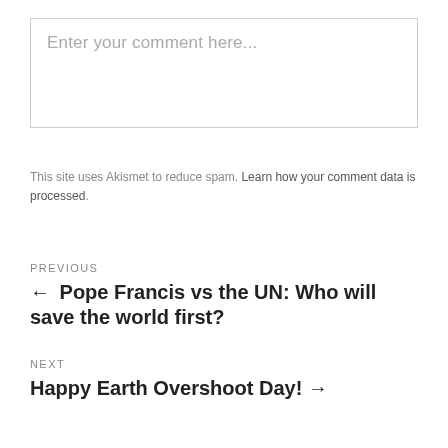Enter your comment here...
This site uses Akismet to reduce spam. Learn how your comment data is processed.
PREVIOUS
← Pope Francis vs the UN: Who will save the world first?
NEXT
Happy Earth Overshoot Day! →